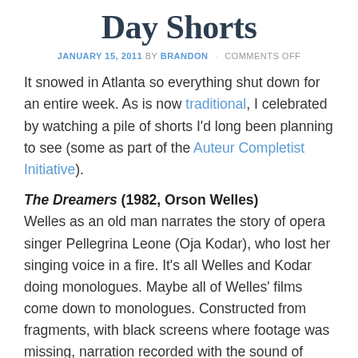Day Shorts
JANUARY 15, 2011 BY BRANDON · COMMENTS OFF
It snowed in Atlanta so everything shut down for an entire week. As is now traditional, I celebrated by watching a pile of shorts I'd long been planning to see (some as part of the Auteur Completist Initiative).
The Dreamers (1982, Orson Welles)
Welles as an old man narrates the story of opera singer Pellegrina Leone (Oja Kodar), who lost her singing voice in a fire. It's all Welles and Kodar doing monologues. Maybe all of Welles' films come down to monologues. Constructed from fragments, with black screens where footage was missing, narration recorded with the sound of rustling script pages. Ooh look, a Don Quixote reference. Not the most exciting of the many late career Welles fragment films… personally I'd